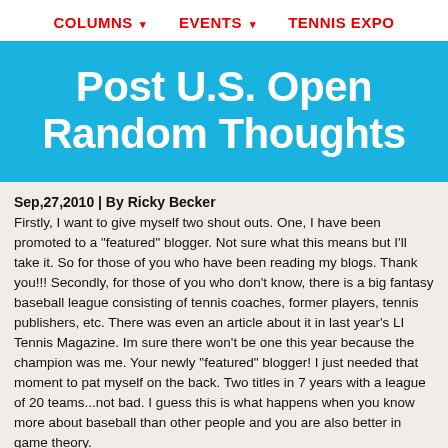COLUMNS ▾   EVENTS ▾   TENNIS EXPO
Post U.S. Open Random Thoughts
Sep,27,2010  | By Ricky Becker
Firstly, I want to give myself two shout outs.  One, I have been promoted to a "featured" blogger.    Not sure what this means but I'll take it.  So for those of you who have been reading my blogs.  Thank you!!!  Secondly, for those of you who don't know, there is a big fantasy baseball league consisting of tennis coaches, former players, tennis publishers, etc.  There was even an article about it in last year's LI Tennis Magazine.  Im sure there won't be one this year because the champion was me.  Your newly "featured" blogger!  I just needed that moment to pat myself on the back.  Two titles in 7 years with a league of 20 teams...not bad. I guess this is what happens when you know more about baseball than other people and you are also better in game theory.